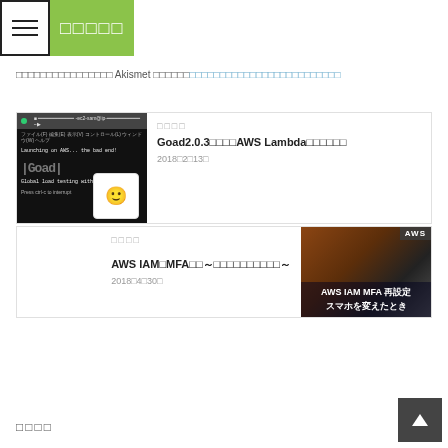☰ □□□□□
□□□□□□□□□□□□□□□□ Akismet □□□□□□□□□□□□□□□□□□□□□□□□□□□□□□□□□
[Figure (screenshot): Terminal window showing AWS Goad tool running, with anime avatar overlay. Badge label: AWS]
□□□□
Goad2.0.3□□□□AWS Lambda□□□□□□
2018□2□13□
[Figure (photo): Cat photo with text overlay: AWS IAM MFA 再設定 スマホを変えたとき. Badge label: AWS]
□□□□
AWS IAM□MFA□□～□□□□□□□□□□～
2018□4□30□
□□□□